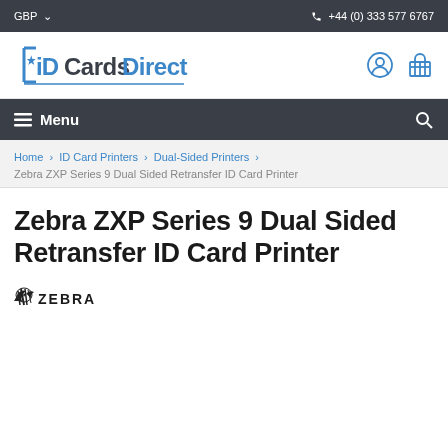GBP   +44 (0) 333 577 6767
[Figure (logo): iDCardsDirect logo with blue star and stylized text]
≡ Menu
Home › ID Card Printers › Dual-Sided Printers › Zebra ZXP Series 9 Dual Sided Retransfer ID Card Printer
Zebra ZXP Series 9 Dual Sided Retransfer ID Card Printer
[Figure (logo): Zebra brand logo in black and white]